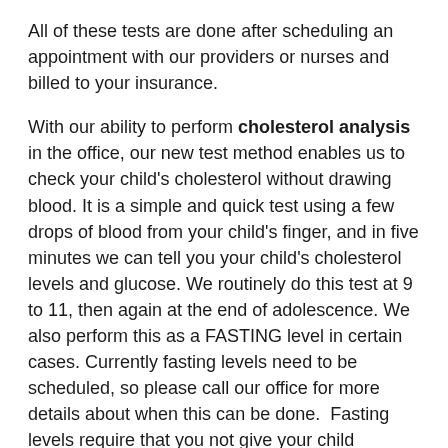All of these tests are done after scheduling an appointment with our providers or nurses and billed to your insurance.
With our ability to perform cholesterol analysis in the office, our new test method enables us to check your child's cholesterol without drawing blood. It is a simple and quick test using a few drops of blood from your child's finger, and in five minutes we can tell you your child's cholesterol levels and glucose. We routinely do this test at 9 to 11, then again at the end of adolescence. We also perform this as a FASTING level in certain cases. Currently fasting levels need to be scheduled, so please call our office for more details about when this can be done. Fasting levels require that you not give your child anything to eat or drink after midnight prior to having this test.
Lipid profile testing
In response to new guidelines from the National Heart, Lung, and Blood Institute, which recommend routine